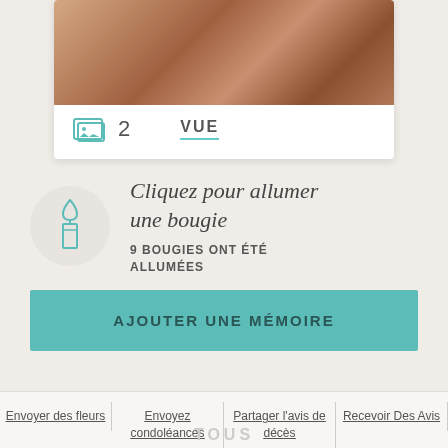[Figure (photo): Partial photo of a person in brown/tan clothing, cropped at top]
2  VUE
[Figure (illustration): Teal candle icon inside a light grey circle]
Cliquez pour allumer une bougie
9 BOUGIES ONT ÉTÉ ALLUMÉES
AJOUTER UNE MÉMOIRE
Envoyer des fleurs
Envoyez condoléances
Partager l'avis de décès
Recevoir Des Avis
TOUS